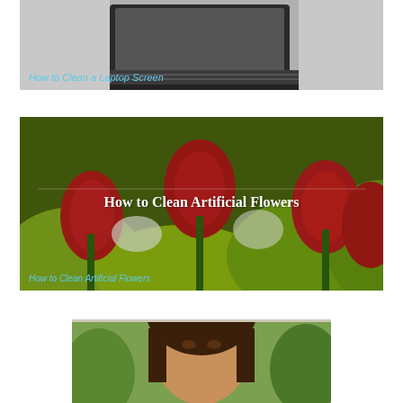[Figure (photo): Photo of a laptop computer on a desk, with the text 'How to Clean a Laptop Screen' overlaid at bottom left in blue italic.]
[Figure (photo): Photo of red and yellow tulips/artificial flowers with a dark olive overlay. Large bold white serif text reads 'How to Clean Artificial Flowers' centered, and blue italic text at bottom left repeats the same title.]
[Figure (photo): Partial photo of a person (face/head) against a green outdoor background, partially visible at bottom of page.]